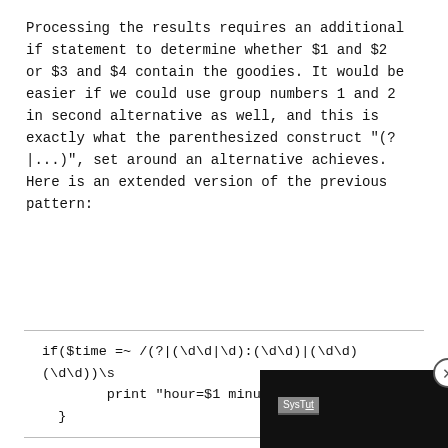Processing the results requires an additional if statement to determine whether $1 and $2 or $3 and $4 contain the goodies. It would be easier if we could use group numbers 1 and 2 in second alternative as well, and this is exactly what the parenthesized construct "(?|...)" , set around an alternative achieves. Here is an extended version of the previous pattern:
if($time =~ /(?|(\d\d|\d):(\d\d)|(\d\d)(\d\d))\s
        print "hour=$1 minute=$2 zone=$3\n";
  }
Within the alternative n numbers start at the sam alternative. After the g continues with one highe